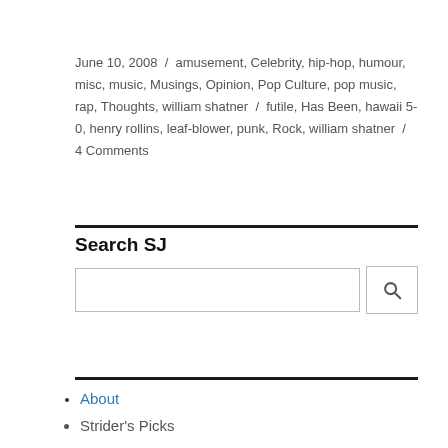June 10, 2008 / amusement, Celebrity, hip-hop, humour, misc, music, Musings, Opinion, Pop Culture, pop music, rap, Thoughts, william shatner / futile, Has Been, hawaii 5-0, henry rollins, leaf-blower, punk, Rock, william shatner / 4 Comments
Search SJ
About
Strider's Picks